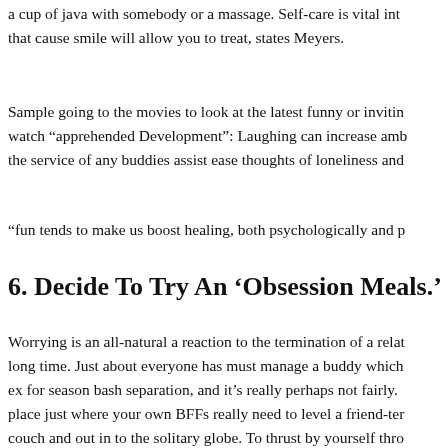a cup of java with somebody or a massage. Self-care is vital into that cause smile will allow you to treat, states Meyers.
Sample going to the movies to look at the latest funny or inviting watch “apprehended Development”: Laughing can increase amb the service of any buddies assist ease thoughts of loneliness and
“fun tends to make us boost healing, both psychologically and p
6. Decide To Try An ‘Obsession Meals.’
Worrying is an all-natural a reaction to the termination of a relat long time. Just about everyone has must manage a buddy which ex for season bash separation, and it’s really perhaps not fairly. place just where your own BFFs really need to level a friend-ter couch and out in to the solitary globe. To thrust by yourself thro level, Meyers advises adding by yourself on an “obsession diet a wrongly identified as the aforementioned, and unadvisable, brea hour, she explains, you may obsess, compose and indulge in co